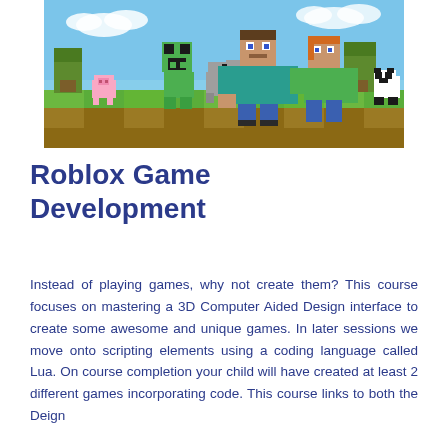[Figure (photo): Minecraft-style game scene showing blocky characters including Steve, a Creeper, and other characters in a green outdoor environment with cube-shaped terrain.]
Roblox Game Development
Instead of playing games, why not create them? This course focuses on mastering a 3D Computer Aided Design interface to create some awesome and unique games. In later sessions we move onto scripting elements using a coding language called Lua. On course completion your child will have created at least 2 different games incorporating code. This course links to both the Deign